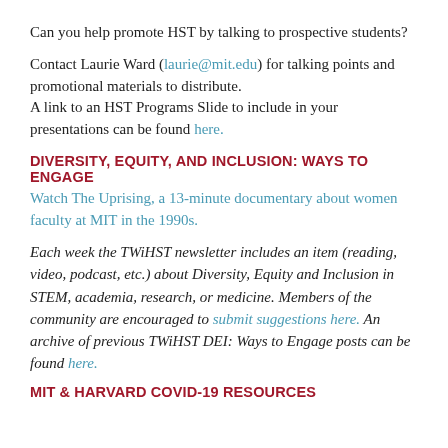Can you help promote HST by talking to prospective students?
Contact Laurie Ward (laurie@mit.edu) for talking points and promotional materials to distribute. A link to an HST Programs Slide to include in your presentations can be found here.
DIVERSITY, EQUITY, AND INCLUSION: WAYS TO ENGAGE
Watch The Uprising, a 13-minute documentary about women faculty at MIT in the 1990s.
Each week the TWiHST newsletter includes an item (reading, video, podcast, etc.) about Diversity, Equity and Inclusion in STEM, academia, research, or medicine. Members of the community are encouraged to submit suggestions here. An archive of previous TWiHST DEI: Ways to Engage posts can be found here.
MIT & HARVARD COVID-19 RESOURCES